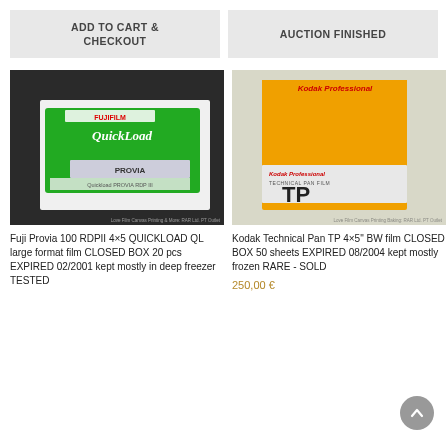ADD TO CART & CHECKOUT
AUCTION FINISHED
[Figure (photo): Fuji Provia 100 RDPII QuickLoad large format film box in green packaging on white surface]
[Figure (photo): Kodak Professional Technical Pan TP film box in orange/yellow packaging on white surface]
Fuji Provia 100 RDPII 4×5 QUICKLOAD QL large format film CLOSED BOX 20 pcs EXPIRED 02/2001 kept mostly in deep freezer TESTED
Kodak Technical Pan TP 4×5" BW film CLOSED BOX 50 sheets EXPIRED 08/2004 kept mostly frozen RARE - SOLD
250,00 €